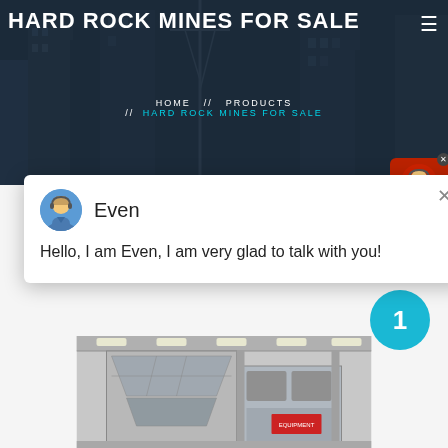HARD ROCK MINES FOR SALE
HOME // PRODUCTS // HARD ROCK MINES FOR SALE
Even
Hello, I am Even, I am very glad to talk with you!
[Figure (photo): Industrial mining/crushing machinery equipment inside a warehouse or processing facility]
1